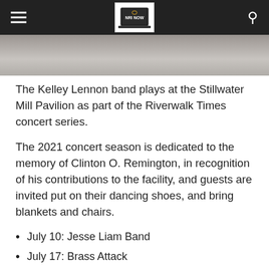NRI NOW (logo with hamburger menu and search icon)
[Figure (photo): Partial photo of an outdoor pavilion or concert venue, cropped at top of content area]
The Kelley Lennon band plays at the Stillwater Mill Pavilion as part of the Riverwalk Times concert series.
The 2021 concert season is dedicated to the memory of Clinton O. Remington, in recognition of his contributions to the facility, and guests are invited put on their dancing shoes, and bring blankets and chairs.
July 10: Jesse Liam Band
July 17: Brass Attack
July 24: All About Amy (formerly The Deloreans)
July 31: Kelley Lennon Band